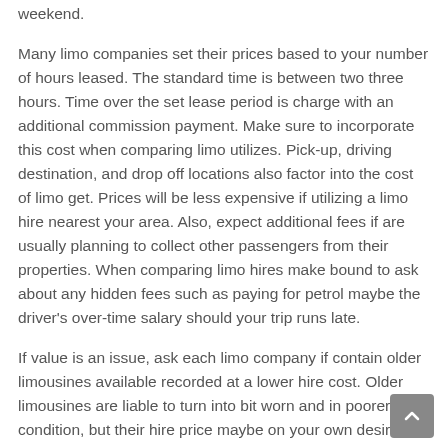weekend.
Many limo companies set their prices based to your number of hours leased. The standard time is between two three hours. Time over the set lease period is charge with an additional commission payment. Make sure to incorporate this cost when comparing limo utilizes. Pick-up, driving destination, and drop off locations also factor into the cost of limo get. Prices will be less expensive if utilizing a limo hire nearest your area. Also, expect additional fees if are usually planning to collect other passengers from their properties. When comparing limo hires make bound to ask about any hidden fees such as paying for petrol maybe the driver's over-time salary should your trip runs late.
If value is an issue, ask each limo company if contain older limousines available recorded at a lower hire cost. Older limousines are liable to turn into bit worn and in poorer condition, but their hire price maybe on your own desired cost bracket.